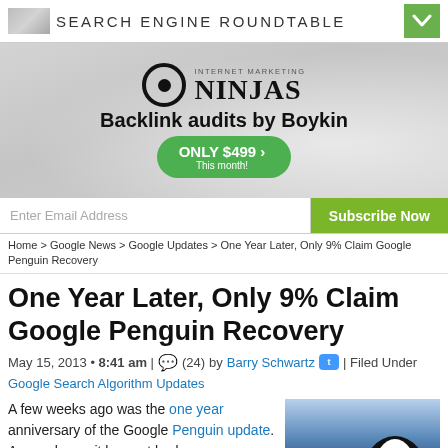SEARCH ENGINE ROUNDTABLE
[Figure (screenshot): Internet Marketing Ninjas advertisement banner — Backlink audits by Boykin, ONLY $499 This month!]
Enter Email Address | Subscribe Now
Home > Google News > Google Updates > One Year Later, Only 9% Claim Google Penguin Recovery
One Year Later, Only 9% Claim Google Penguin Recovery
May 15, 2013 • 8:41 am | (24) by Barry Schwartz | Filed Under Google Search Algorithm Updates
A few weeks ago was the one year anniversary of the Google Penguin update. As you know, it has not had a...